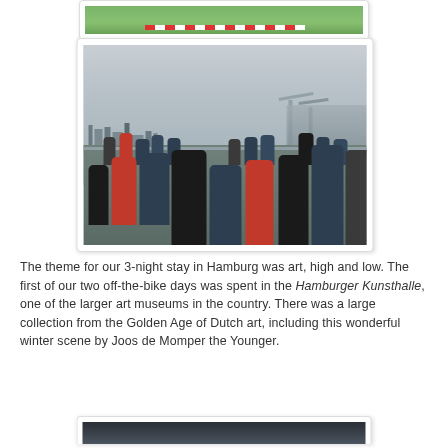[Figure (photo): Top partial photo showing a green grassy area with a red-and-white barrier/tape, partially cropped at top of page]
[Figure (photo): Photo of people standing on the deck of a boat/ferry on a river, with the Hamburg skyline and harbour cranes visible in the background under a cloudy grey sky]
The theme for our 3-night stay in Hamburg was art, high and low.  The first of our two off-the-bike days was spent in the Hamburger Kunsthalle, one of the larger art museums in the country.  There was a large collection from the Golden Age of Dutch art, including this wonderful winter scene by Joos de Momper the Younger.
[Figure (photo): Partial photo at the bottom of the page, partially cropped, showing what appears to be a dark scene]